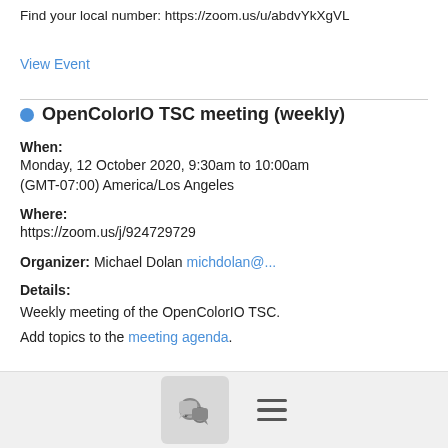Find your local number: https://zoom.us/u/abdvYkXgVL
View Event
OpenColorIO TSC meeting (weekly)
When:
Monday, 12 October 2020, 9:30am to 10:00am
(GMT-07:00) America/Los Angeles
Where:
https://zoom.us/j/924729729
Organizer: Michael Dolan michdolan@...
Details:
Weekly meeting of the OpenColorIO TSC.

Add topics to the meeting agenda.
[Figure (other): Footer bar with chat icon button and hamburger menu icon]